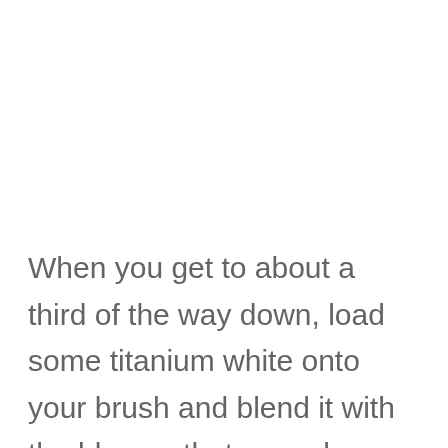When you get to about a third of the way down, load some titanium white onto your brush and blend it with the blue so that your sky turns into a lighter blue.